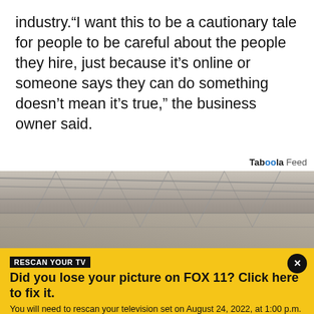industry.“I want this to be a cautionary tale for people to be careful about the people they hire, just because it’s online or someone says they can do something doesn’t mean it’s true,” the business owner said.
[Figure (photo): Interior of a warehouse or storage facility with metal truss ceiling and rows of vehicles parked below, covered with dust, shot from an angle showing the length of the building.]
RESCAN YOUR TV
Did you lose your picture on FOX 11? Click here to fix it.
You will need to rescan your television set on August 24, 2022, at 1:00 p.m. PT in order to continue receiving our broadcast. Tap for details on how to rescan your TV.